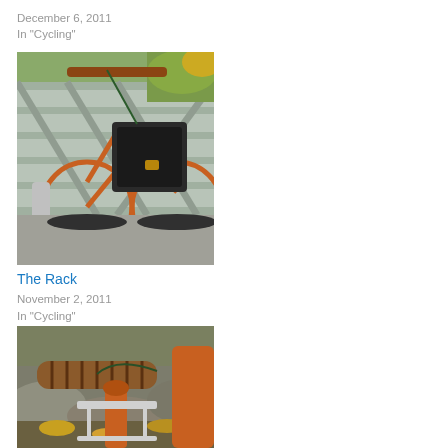December 6, 2011
In "Cycling"
[Figure (photo): Orange/copper-colored bicycle on a metal bridge with a black handlebar bag/pack mounted on the front rack. Metal bridge railings visible in background with autumn foliage.]
The Rack
November 2, 2011
In "Cycling"
[Figure (photo): Close-up of copper/brown bicycle handlebars with brown leather wrap, showing front rack and autumn leaves/rocky background.]